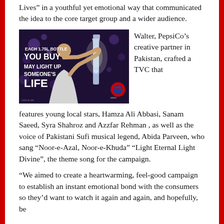Lives” in a youthful yet emotional way that communicated the idea to the core target group and a wider audience.
[Figure (photo): Advertisement image showing a young boy holding up a glowing 1.75L bottle with text: EACH 1.75L BOTTLE YOU BUY MAY LIGHT UP SOMEONE’S LIFE, with a Pepsi logo.]
Walter, PepsiCo’s creative partner in Pakistan, crafted a TVC that features young local stars, Hamza Ali Abbasi, Sanam Saeed, Syra Shahroz and Azzfar Rehman , as well as the voice of Pakistani Sufi musical legend, Abida Parveen, who sang “Noor-e-Azal, Noor-e-Khuda” “Light Eternal Light Divine”, the theme song for the campaign.
“We aimed to create a heartwarming, feel-good campaign to establish an instant emotional bond with the consumers so they’d want to watch it again and again, and hopefully, be